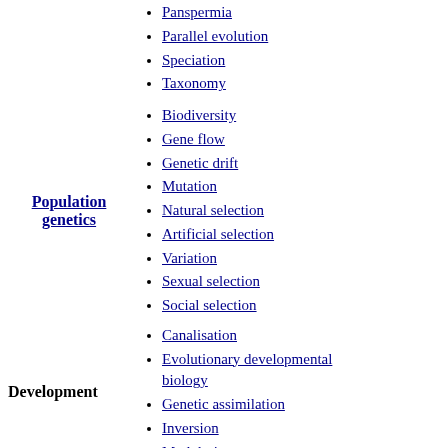Panspermia
Parallel evolution
Speciation
Taxonomy
Population genetics
Biodiversity
Gene flow
Genetic drift
Mutation
Natural selection
Artificial selection
Variation
Sexual selection
Social selection
Development
Canalisation
Evolutionary developmental biology
Genetic assimilation
Inversion
Modularity
Phenotypic plasticity
Bacteria
Birds
origin